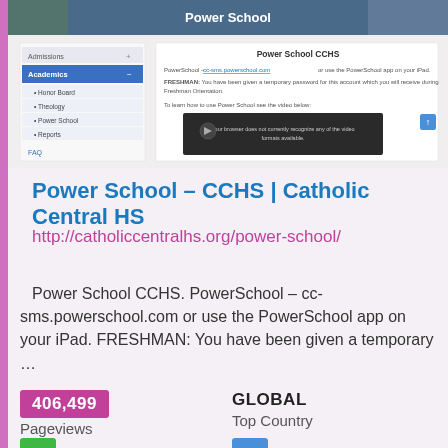[Figure (screenshot): Screenshot of the Power School CCHS webpage showing navigation menu on the left with Academics section expanded, and Power School CCHS content area on the right with a video player showing 'Your browser does not currently recognize any of the video formats available.']
Power School – CCHS | Catholic Central HS
http://catholiccentralhs.org/power-school/
Power School CCHS. PowerSchool – cc-sms.powerschool.com or use the PowerSchool app on your iPad. FRESHMAN: You have been given a temporary …
406,499
Pageviews
GLOBAL
Top Country